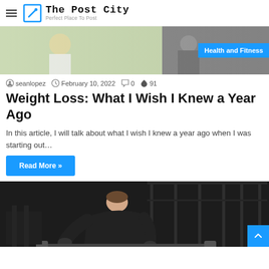The Post City — Perfect Place To Post
[Figure (photo): Top banner image showing fitness/health scene with two partial images side by side and a 'Health and Fitness' category badge on the right]
seanlopez  February 10, 2022  0  91
Weight Loss: What I Wish I Knew a Year Ago
In this article, I will talk about what I wish I knew a year ago when I was starting out…
Read More »
[Figure (photo): Man in black shirt leaning over gym equipment in a dark gym environment with barbell equipment in the background]